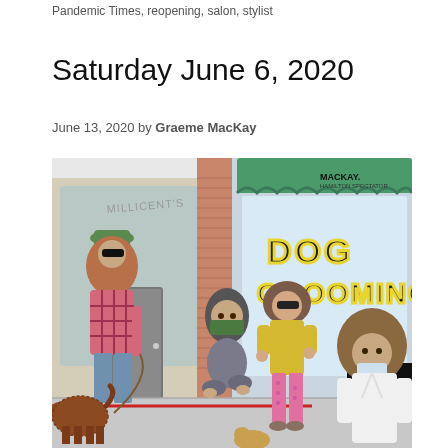Pandemic Times, reopening, salon, stylist
Saturday June 6, 2020
June 13, 2020 by Graeme MacKay
[Figure (illustration): Editorial cartoon by MacKay showing people outside a Dog Grooming shop. A man with an overgrown beard wearing a green cap and sunglasses stands with a shaggy dog on a leash. A hunched figure with long overgrown hair crouches in the middle with a green bag over their face. A woman with wild curly hair and sunglasses in a yellow shirt and pink pants stands gesturing. At the right, a woman with a large afro-style overgrown hair wearing a mask and white coat stands near the Dog Grooming shop entrance which has a sign reading 'Yes! We Are Open'. The shop window reads 'DOG GROOMING' in large letters. Another shop window reads 'MILLICENT'S' in the background.]